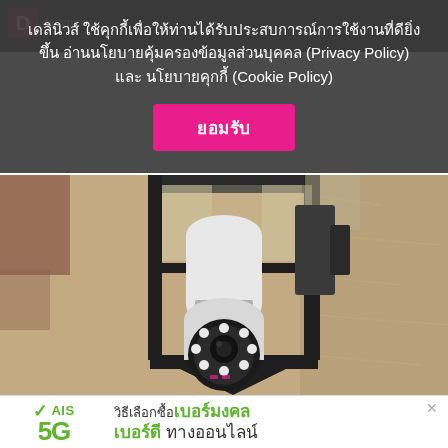เดลินิวส์ ใช้คุกกี้เพื่อให้ท่านได้รับประสบการณ์การใช้งานที่ดียิ่งขึ้น อ่านนโยบายคุ้มครองข้อมูลส่วนบุคคล (Privacy Policy) และ นโยบายคุกกี้ (Cookie Policy)
ยอมรับ
[Figure (photo): A security camera shaped like a light bulb installed inside a vintage black metal lantern wall fixture mounted on a textured beige/tan stucco wall. The camera has a round lens with LED ring lights visible at the bottom.]
[Figure (infographic): AIS 5G advertisement banner. Shows AIS 5G logo on the left with green checkmark and text. Right side shows Thai text: วิธีเลือกซื้อเบอร์มงคล เบอร์ดี ทางออนไลน์]